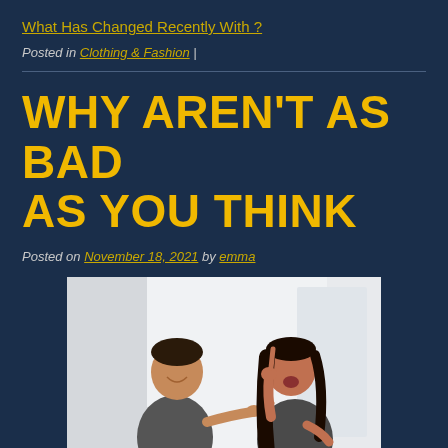What Has Changed Recently With ?
Posted in Clothing & Fashion |
WHY AREN'T AS BAD AS YOU THINK
Posted on November 18, 2021 by emma
[Figure (photo): Two Asian people arguing — a man in a dark gray t-shirt pointing at a woman, and a woman in a dark gray top pointing back at him with an angry expression, on a light background.]